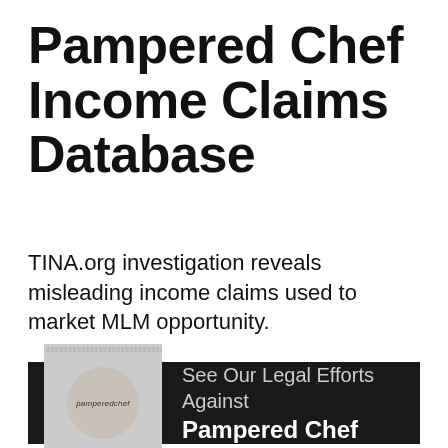Pampered Chef Income Claims Database
TINA.org investigation reveals misleading income claims used to market MLM opportunity.
[Figure (logo): Dark banner with Pampered Chef logo (dollar sign pattern background with circle overlay showing 'pampered chef' text) and text 'See Our Legal Efforts Against Pampered Chef']